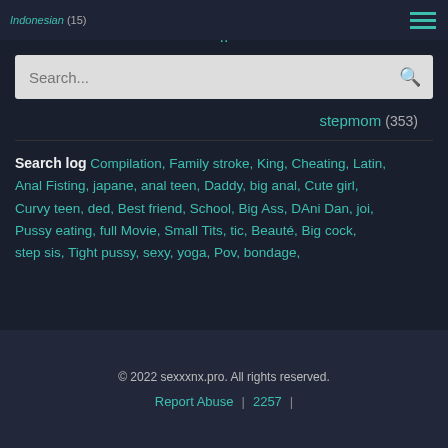Indonesian (15)  ..
stepmom (353)
Search log  Compilation,  Family stroke,  King,  Cheating,  Latin,  Anal Fisting,  japane,  anal teen,  Daddy,  big anal,  Cute girl,  Curvy teen,  ded,  Best friend,  School,  Big Ass,  DAni Dan,  joi,  Pussy eating,  full Movie,  Small Tits,  tic,  Beauté,  Big cock,  step sis,  Tight pussy,  sexy,  yoga,  Pov,  bondage,
© 2022 sexxxnx.pro. All rights reserved.  Report Abuse  |  2257  |